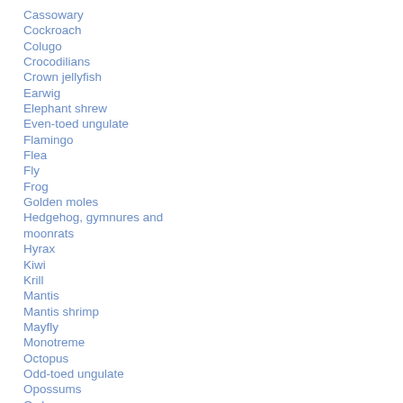Cassowary
Cockroach
Colugo
Crocodilians
Crown jellyfish
Earwig
Elephant shrew
Even-toed ungulate
Flamingo
Flea
Fly
Frog
Golden moles
Hedgehog, gymnures and moonrats
Hyrax
Kiwi
Krill
Mantis
Mantis shrimp
Mayfly
Monotreme
Octopus
Odd-toed ungulate
Opossums
Owl
Pangolin
Parrot